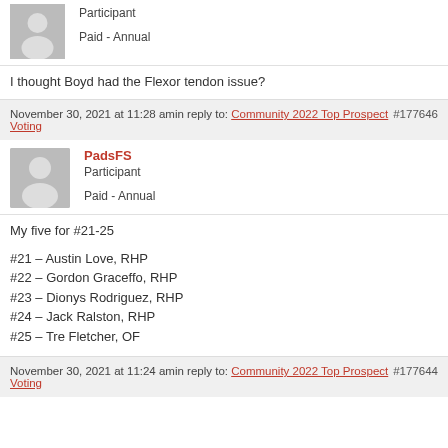[Figure (illustration): Gray avatar silhouette icon]
Participant
Paid - Annual
I thought Boyd had the Flexor tendon issue?
November 30, 2021 at 11:28 amin reply to: Community 2022 Top Prospect Voting #177646
[Figure (illustration): Gray avatar silhouette icon]
PadsFS
Participant
Paid - Annual
My five for #21-25
#21 – Austin Love, RHP
#22 – Gordon Graceffo, RHP
#23 – Dionys Rodriguez, RHP
#24 – Jack Ralston, RHP
#25 – Tre Fletcher, OF
November 30, 2021 at 11:24 amin reply to: Community 2022 Top Prospect Voting #177644